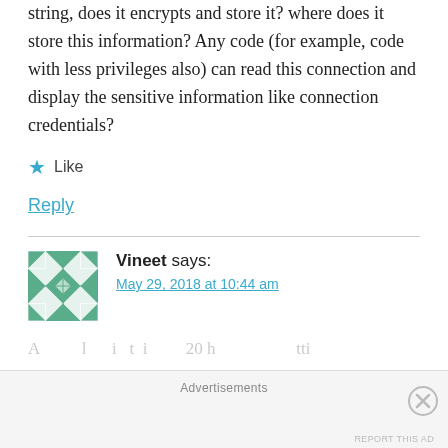string, does it encrypts and store it? where does it store this information? Any code (for example, code with less privileges also) can read this connection and display the sensitive information like connection credentials?
★ Like
Reply
Vineet says:
May 29, 2018 at 10:44 am
Advertisements